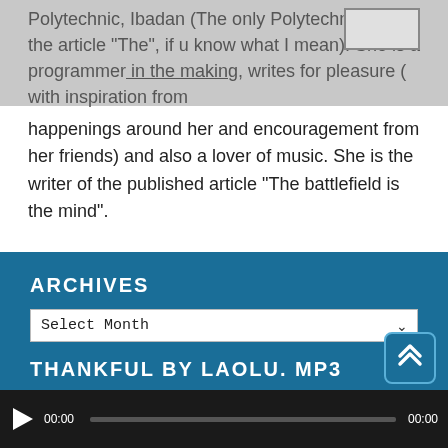Polytechnic, Ibadan (The only Polytechnic with the article "The", if u know what I mean). She is a programmer in the making, writes for pleasure ( with inspiration from happenings around her and encouragement from her friends) and also a lover of music. She is the writer of the published article "The battlefield is the mind".
ARCHIVES
[Figure (screenshot): Select Month dropdown control]
THANKFUL BY LAOLU. MP3
[Figure (screenshot): Audio player with play button, 00:00 current time, progress bar, and 00:00 total duration]